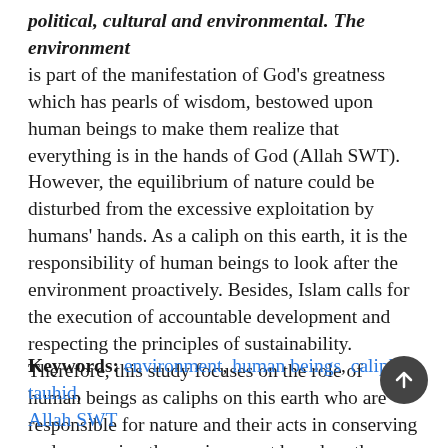political, cultural and environmental. The environment is part of the manifestation of God's greatness which has pearls of wisdom, bestowed upon human beings to make them realize that everything is in the hands of God (Allah SWT). However, the equilibrium of nature could be disturbed from the excessive exploitation by humans' hands. As a caliph on this earth, it is the responsibility of human beings to look after the environment proactively. Besides, Islam calls for the execution of accountable development and respecting the principles of sustainability. Therefore, this study focuses on the role of human beings as caliphs on this earth who are responsible for nature and their acts in conserving and preserving the environment based on the approach of religious education. This study also used the research method of the survey library.
Keywords: environment, human beings, caliph, tauhid, Allah SWT